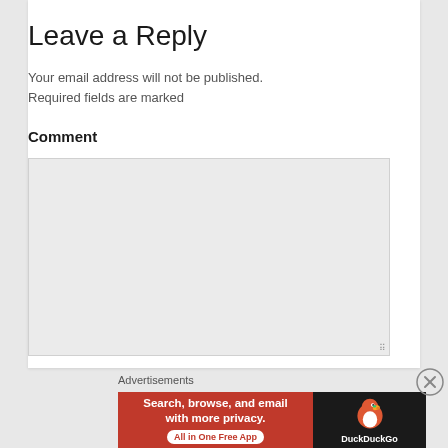Leave a Reply
Your email address will not be published. Required fields are marked
Comment
[Figure (other): Empty comment textarea input box with resize handle]
Advertisements
[Figure (other): DuckDuckGo advertisement banner: 'Search, browse, and email with more privacy. All in One Free App' with DuckDuckGo logo on dark background]